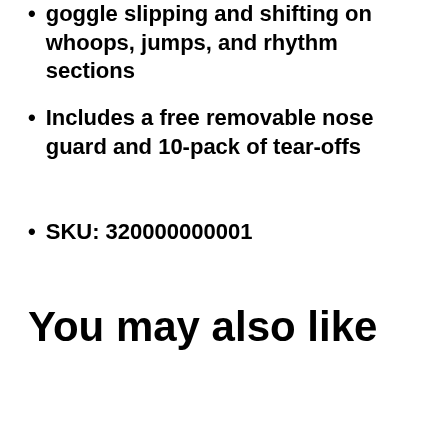goggle slipping and shifting on whoops, jumps, and rhythm sections
Includes a free removable nose guard and 10-pack of tear-offs
SKU: 320000000001
You may also like